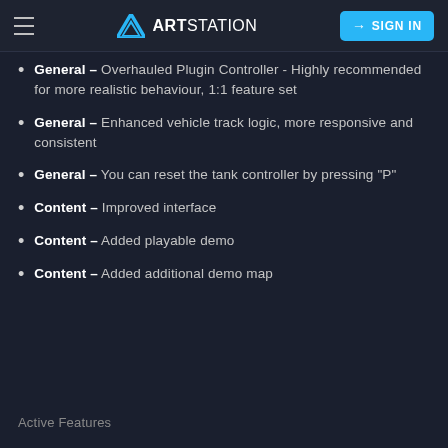ArtStation – SIGN IN
General – Overhauled Plugin Controller - Highly recommended for more realistic behaviour, 1:1 feature set
General – Enhanced vehicle track logic, more responsive and consistent
General – You can reset the tank controller by pressing "P"
Content – Improved interface
Content – Added playable demo
Content – Added additional demo map
Active Features